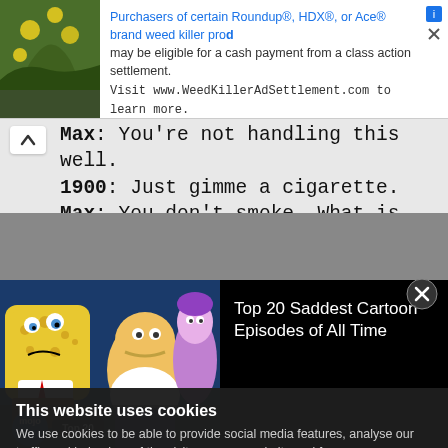[Figure (screenshot): Ad banner with plant thumbnail and text about Roundup class action settlement]
Max: You're not handling this well.
1900: Just gimme a cigarette.
Max: You don't smoke. What is the matter with you? You could lick this guy with one hand, come on!
1900: You gonna gimme a cigarette?
Max: We're gonna be chucking coal a couple a hundred years and all you can say is...
1900: Give me a ****ing cigarette, will
This website uses cookies
We use cookies to be able to provide social media features, analyse our traffic and behaviour of the visitors on our website and for
[Figure (screenshot): Video card showing SpongeBob and Simpsons characters thumbnail with title: Top 20 Saddest Cartoon Episodes of All Time]